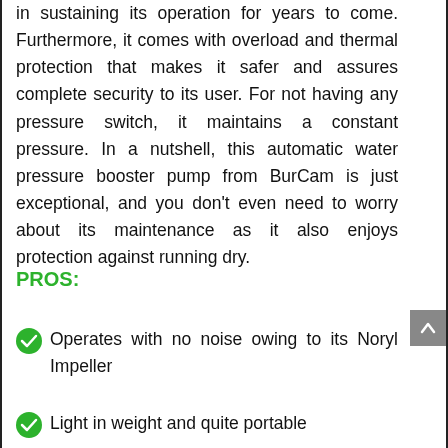in sustaining its operation for years to come. Furthermore, it comes with overload and thermal protection that makes it safer and assures complete security to its user. For not having any pressure switch, it maintains a constant pressure. In a nutshell, this automatic water pressure booster pump from BurCam is just exceptional, and you don't even need to worry about its maintenance as it also enjoys protection against running dry.
PROS:
Operates with no noise owing to its Noryl Impeller
Light in weight and quite portable